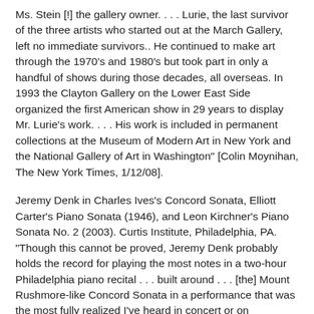Ms. Stein [!] the gallery owner. . . . Lurie, the last survivor of the three artists who started out at the March Gallery, left no immediate survivors.. He continued to make art through the 1970's and 1980's but took part in only a handful of shows during those decades, all overseas. In 1993 the Clayton Gallery on the Lower East Side organized the first American show in 29 years to display Mr. Lurie's work. . . . His work is included in permanent collections at the Museum of Modern Art in New York and the National Gallery of Art in Washington" [Colin Moynihan, The New York Times, 1/12/08].
Jeremy Denk in Charles Ives's Concord Sonata, Elliott Carter's Piano Sonata (1946), and Leon Kirchner's Piano Sonata No. 2 (2003). Curtis Institute, Philadelphia, PA. "Though this cannot be proved, Jeremy Denk probably holds the record for playing the most notes in a two-hour Philadelphia piano recital . . . built around . . . [the] Mount Rushmore-like Concord Sonata in a performance that was the most fully realized I've heard in concert or on recordings. . . . A program for critics, in effect -- though this one felt a bit trapped . . . in moments when Denk's steely fingers and the